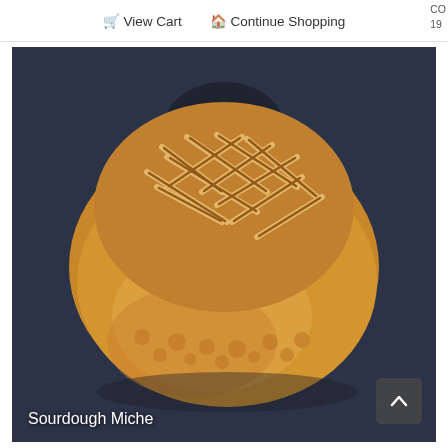🛒 View Cart  🏠 Continue Shopping    CO 19
[Figure (photo): A round sourdough miche bread with a golden-brown crust scored in a crosshatch grid pattern on top, sitting on a dark blue-grey textured fabric background.]
Sourdough Miche